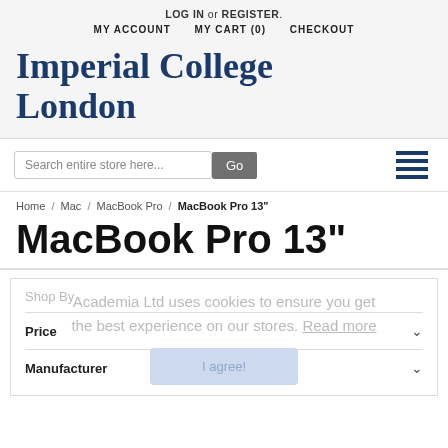LOG IN or REGISTER.
MY ACCOUNT   MY CART (0)   CHECKOUT
Imperial College London
Search entire store here...  Go
Home / Mac / MacBook Pro / MacBook Pro 13"
MacBook Pro 13"
Shop By
Academia Ltd uses cookies to ensure you get the best experience on our stores. Read more
I agree!
Price
Manufacturer